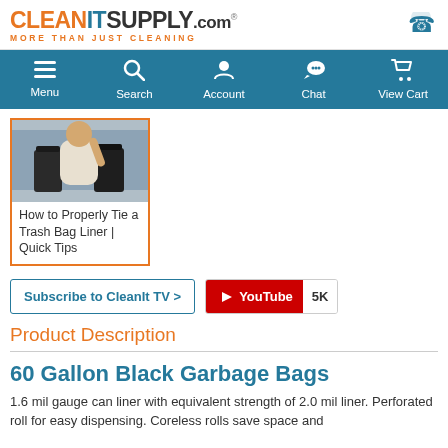CLEANITSUPPLY.com — MORE THAN JUST CLEANING
[Figure (screenshot): Navigation bar with Menu, Search, Account, Chat, View Cart icons on teal background]
[Figure (screenshot): Video thumbnail showing person with two black trash cans]
How to Properly Tie a Trash Bag Liner | Quick Tips
Subscribe to CleanIt TV >
[Figure (logo): YouTube button with 5K subscriber count]
Product Description
60 Gallon Black Garbage Bags
1.6 mil gauge can liner with equivalent strength of 2.0 mil liner. Perforated roll for easy dispensing. Coreless rolls save space and